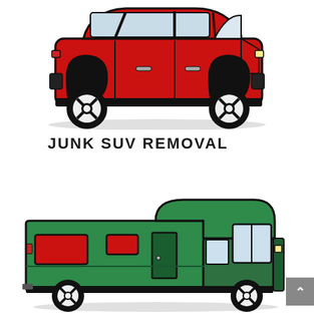[Figure (illustration): Red SUV/crossover vehicle illustration viewed from the side, with large black wheels with white hubcaps, shown partially cropped at top of page]
JUNK SUV REMOVAL
[Figure (illustration): Green RV/motorhome illustration viewed from the side, with red windows, dark green door, cab section, and large black wheels with white hubcaps]
[Figure (other): Gray scroll-to-top button with upward arrow in bottom right corner]